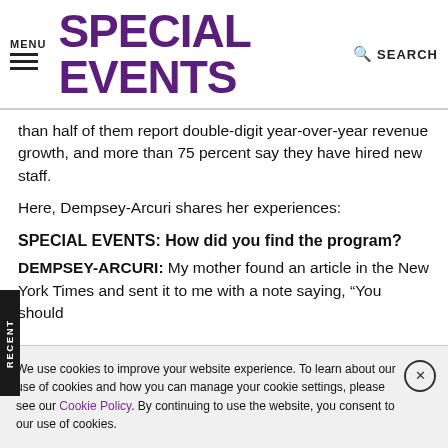MENU | SPECIAL EVENTS | SEARCH
than half of them report double-digit year-over-year revenue growth, and more than 75 percent say they have hired new staff.
Here, Dempsey-Arcuri shares her experiences:
SPECIAL EVENTS: How did you find the program?
DEMPSEY-ARCURI: My mother found an article in the New York Times and sent it to me with a note saying, “You should
We use cookies to improve your website experience. To learn about our use of cookies and how you can manage your cookie settings, please see our Cookie Policy. By continuing to use the website, you consent to our use of cookies.